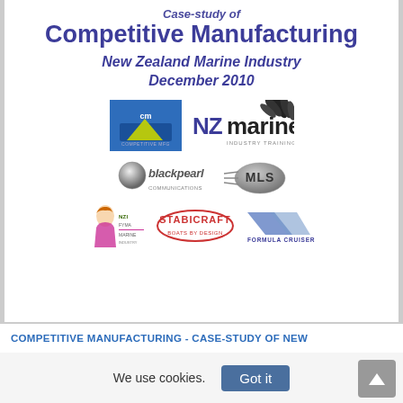Case-study of
Competitive Manufacturing
New Zealand Marine Industry
December 2010
[Figure (logo): Collection of company logos: CTM (blue rectangle logo), NZMarine Industry Training (with grain/leaf icon), Blackpearl, MLS (oval logo), a woman figure logo with text, Stabicraft, Formula Cruisers]
COMPETITIVE MANUFACTURING - CASE-STUDY OF NEW
We use cookies.
Got it